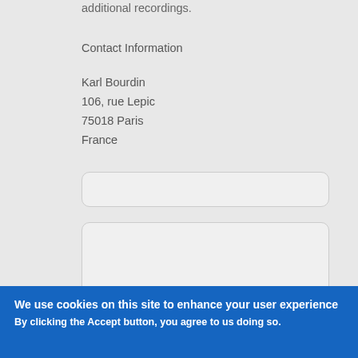additional recordings.
Contact Information
Karl Bourdin
106, rue Lepic
75018 Paris
France
[Figure (other): Empty text input field with rounded corners]
[Figure (other): Empty large textarea input field with rounded corners]
We use cookies on this site to enhance your user experience
By clicking the Accept button, you agree to us doing so.